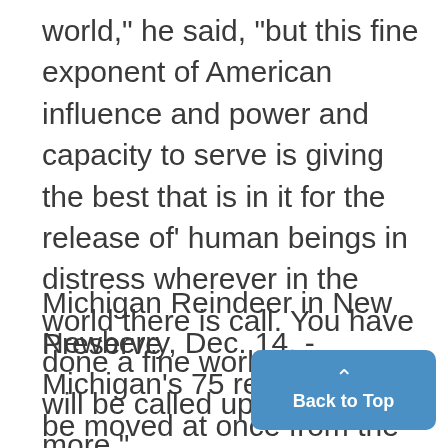world," he said, "but this fine exponent of American influence and power and capacity to serve is giving the best that is in it for the release of' human beings in distress wherever in the world there is call. You have done a fine work, and you will be called upon to do more."
Michigan Reindeer in New Preserve
Newberry, Dec. 14. - Michigan's 75 reindeer are to be moved at once from the wild lands around Grayling to the new, fenced game preserve of acres near here. Ten miles of wire